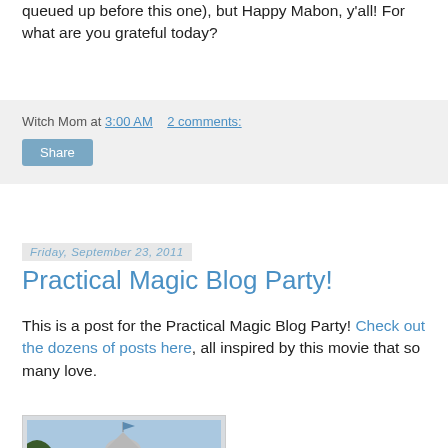queued up before this one), but Happy Mabon, y'all! For what are you grateful today?
Witch Mom at 3:00 AM   2 comments:
Share
Friday, September 23, 2011
Practical Magic Blog Party!
This is a post for the Practical Magic Blog Party! Check out the dozens of posts here, all inspired by this movie that so many love.
[Figure (photo): A white Victorian-style house with a tower/turret, trees in background, blue sky — from the movie Practical Magic]